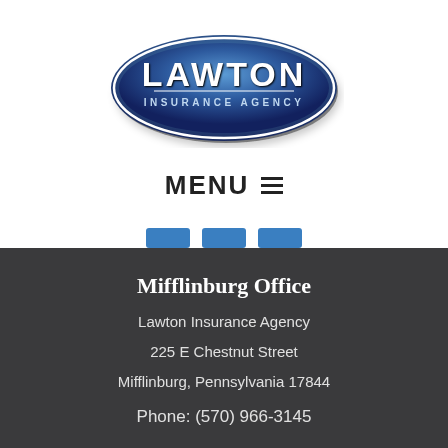[Figure (logo): Lawton Insurance Agency oval logo with blue gradient background and white text]
MENU ≡
Mifflinburg Office
Lawton Insurance Agency
225 E Chestnut Street
Mifflinburg, Pennsylvania 17844
Phone: (570) 966-3145